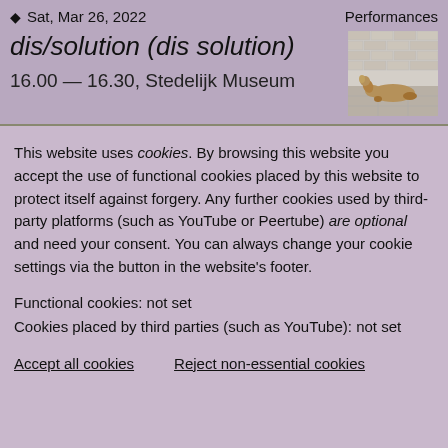Sat, Mar 26, 2022   Performances
dis/solution (dis solution)
16.00 — 16.30, Stedelijk Museum
[Figure (photo): A dog or animal lying on a tiled floor against a brick wall]
This website uses cookies. By browsing this website you accept the use of functional cookies placed by this website to protect itself against forgery. Any further cookies used by third-party platforms (such as YouTube or Peertube) are optional and need your consent. You can always change your cookie settings via the button in the website's footer.
Functional cookies: not set
Cookies placed by third parties (such as YouTube): not set
Accept all cookies   Reject non-essential cookies